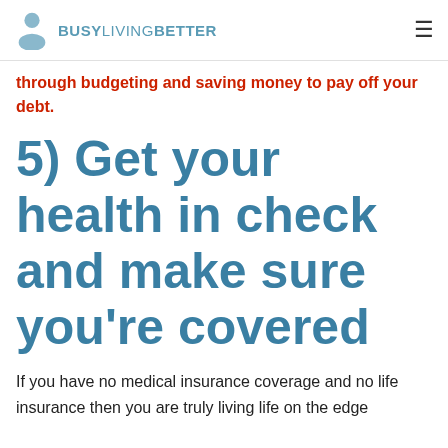BUSY LIVING BETTER
through budgeting and saving money to pay off your debt.
5) Get your health in check and make sure you're covered
If you have no medical insurance coverage and no life insurance then you are truly living life on the edge